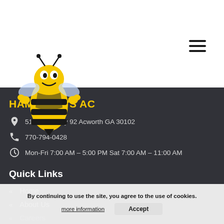[Figure (logo): Hammock's AC mascot bee logo — yellow and black cartoon bee flexing]
[Figure (other): Hamburger menu icon (three horizontal lines) in top right corner]
HAMMOCK'S AC
5137 Highway 92 Acworth GA 30102
770-794-0428
Mon-Fri 7:00 AM – 5:00 PM Sat 7:00 AM – 11:00 AM
Quick Links
Home
About Us
Careers
Specials
Blog
By continuing to use the site, you agree to the use of cookies.
more information
Accept